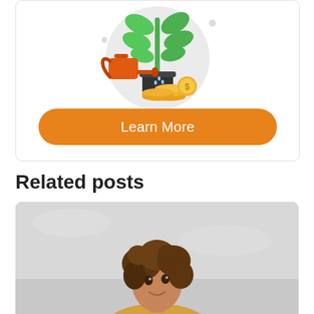[Figure (illustration): Illustration of a watering can pouring water onto a plant growing in a pot, surrounded by gold coins, on a light grey circular background. Represents financial growth.]
Learn More
Related posts
[Figure (photo): Photo of a smiling woman with curly hair looking upward, wearing a yellow top, against a light sky background.]